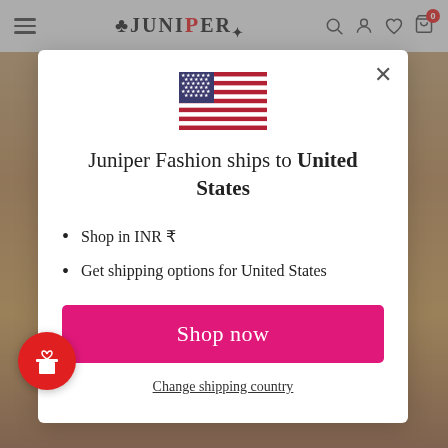[Figure (screenshot): Juniper Fashion website header navbar with hamburger menu, Juniper logo, and icons for search, account, wishlist, and cart (badge showing 0)]
[Figure (screenshot): Modal popup on Juniper Fashion website showing US flag, shipping message, bullet points, Shop now button, and Change shipping country link]
Juniper Fashion ships to United States
Shop in INR ₹
Get shipping options for United States
Shop now
Change shipping country